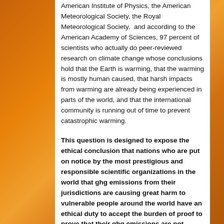American Institute of Physics, the American Meteorological Society, the Royal Meteorological Society,  and according to the American Academy of Sciences, 97 percent of scientists who actually do peer-reviewed research on climate change whose conclusions hold that the Earth is warming, that the warming is mostly human caused, that harsh impacts from warming are already being experienced in parts of the world, and that the international community is running out of time to prevent catastrophic warming.
This question is designed to expose the ethical conclusion that nations who are put on notice by the most prestigious and responsible scientific organizations in the world that ghg emissions from their jurisdictions are causing great harm to vulnerable people around the world have an ethical duty to accept the burden of proof to prove that their ghg emissions are not causing harm. That is once there is a reasonable scientific basis for concluding that some nations or entities are causing great harm, the question of who should have the burden of proof